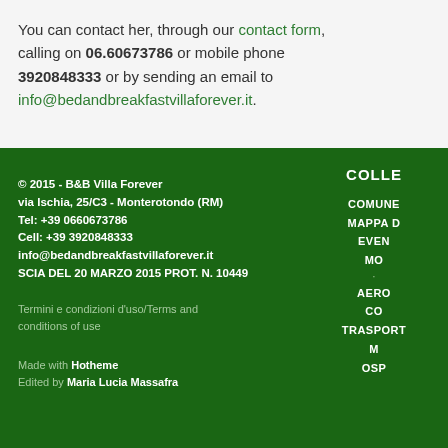You can contact her, through our contact form, calling on 06.60673786 or mobile phone 3920848333 or by sending an email to info@bedandbreakfastvillaforever.it.
© 2015 - B&B Villa Forever
via Ischia, 25/C3 - Monterotondo (RM)
Tel: +39 0660673786
Cell: +39 3920848333
info@bedandbreakfastvillaforever.it
SCIA DEL 20 MARZO 2015 PROT. N. 10449
Termini e condizioni d'uso/Terms and conditions of use
Made with Hotheme
Edited by Maria Lucia Massafra
COLLE
COMUNE
MAPPA D
EVEN
MO
AERO
CO
TRASPORT
M
OSP